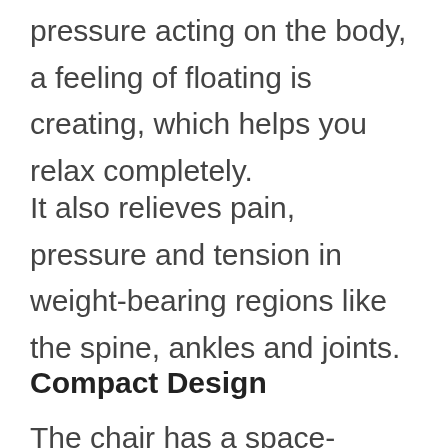pressure acting on the body, a feeling of floating is creating, which helps you relax completely.
It also relieves pain, pressure and tension in weight-bearing regions like the spine, ankles and joints.
Compact Design
The chair has a space-saving